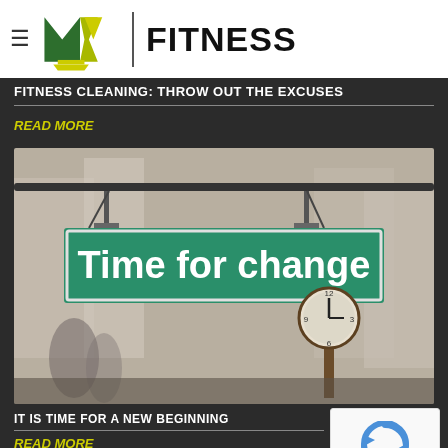MKT FITNESS
FITNESS CLEANING: THROW OUT THE EXCUSES
READ MORE
[Figure (photo): Street sign hanging from a pole reading 'Time for change' in white bold text on a green background, with a clock visible in the blurred background street scene]
IT IS TIME FOR A NEW BEGINNING
READ MORE